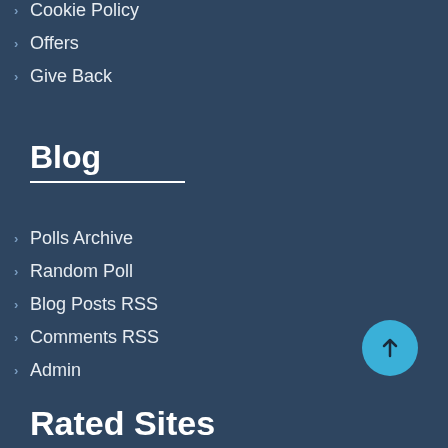Cookie Policy
Offers
Give Back
Blog
Polls Archive
Random Poll
Blog Posts RSS
Comments RSS
Admin
Rated Sites